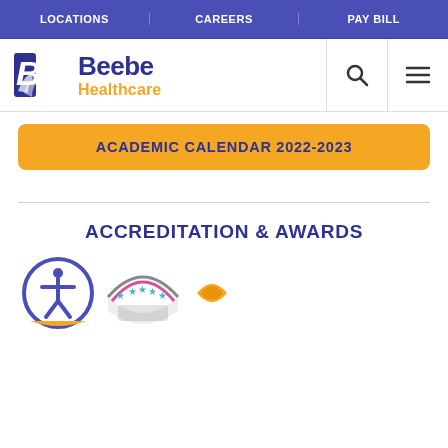LOCATIONS | CAREERS | PAY BILL
[Figure (logo): Beebe Healthcare logo with stylized B and hands icon, blue and gold colors]
ACADEMIC CALENDAR 2022-2023
ACCREDITATION & AWARDS
[Figure (illustration): Accessibility icon in blue circle badge]
[Figure (illustration): Award/accreditation badge with stars in pink/gray arc design]
[Figure (illustration): Partial award badge in gold/orange, partially visible at right edge]